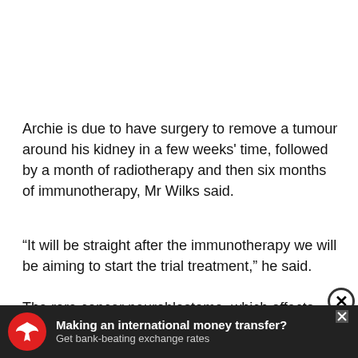Archie is due to have surgery to remove a tumour around his kidney in a few weeks' time, followed by a month of radiotherapy and then six months of immunotherapy, Mr Wilks said.
“It will be straight after the immunotherapy we will be aiming to start the trial treatment,” he said.
The rare cancer neuroblastoma, which affects around 100 children each year in the UK and is most common in children under the age of five, develops from specialised nerve cells (neuroblasts) left behind from a baby’s develop...